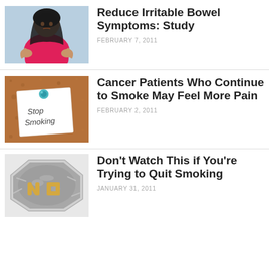[Figure (photo): Woman in pink shirt holding her stomach in pain, against a light blue background.]
Reduce Irritable Bowel Symptoms: Study
FEBRUARY 7, 2011
[Figure (photo): A cork bulletin board with a sticky note pinned by a blue thumbtack reading 'Stop Smoking'.]
Cancer Patients Who Continue to Smoke May Feel More Pain
FEBRUARY 2, 2011
[Figure (photo): An ashtray filled with cigarette ash and cigarette butts arranged to spell 'NO'.]
Don't Watch This if You're Trying to Quit Smoking
JANUARY 31, 2011